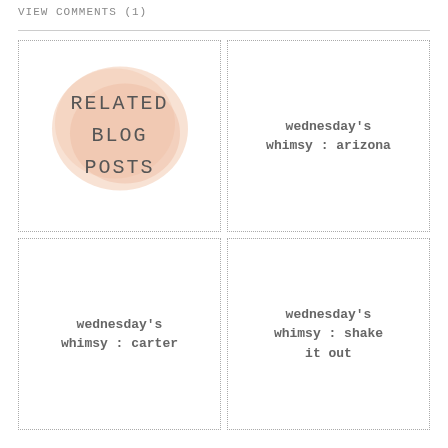VIEW COMMENTS (1)
[Figure (illustration): Related Blog Posts label with peach watercolor blob background, text reading RELATED BLOG POSTS in uppercase monospace letters]
wednesday's whimsy : arizona
wednesday's whimsy : carter
wednesday's whimsy : shake it out